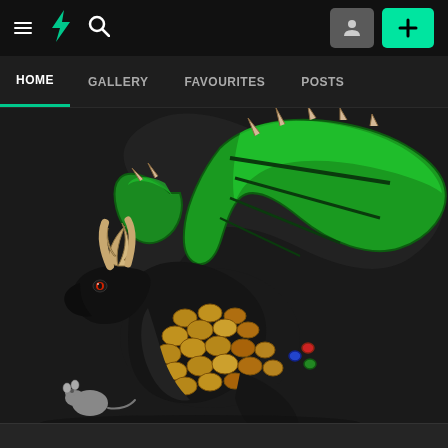DeviantArt navigation bar with hamburger menu, DeviantArt logo, search icon, user profile button, and plus button
HOME | GALLERY | FAVOURITES | POSTS
[Figure (illustration): Digital illustration of a black dragon with bright green wings spread open, golden/orange scales on its body, antler-like horns, sharp claws, and a small grey mouse figure at its feet. The dragon is shown in profile facing left against a dark background.]